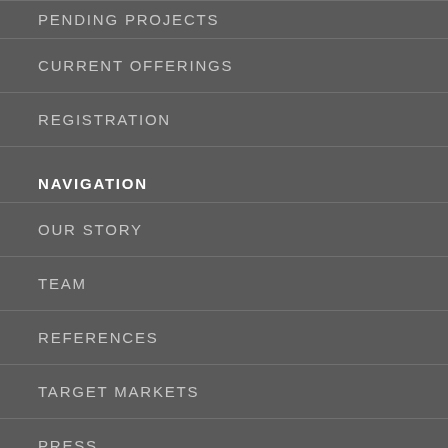PENDING PROJECTS
CURRENT OFFERINGS
REGISTRATION
NAVIGATION
OUR STORY
TEAM
REFERENCES
TARGET MARKETS
PRESS